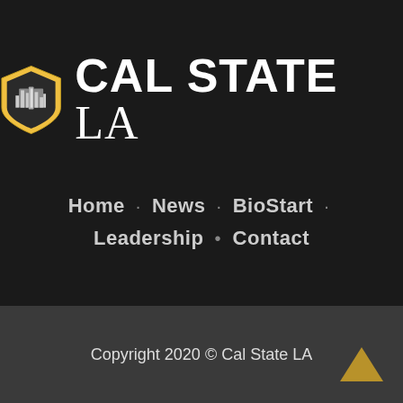[Figure (logo): Cal State LA logo with shield icon and text CAL STATE LA]
Home · News · BioStart · Leadership • Contact
Copyright 2020 © Cal State LA